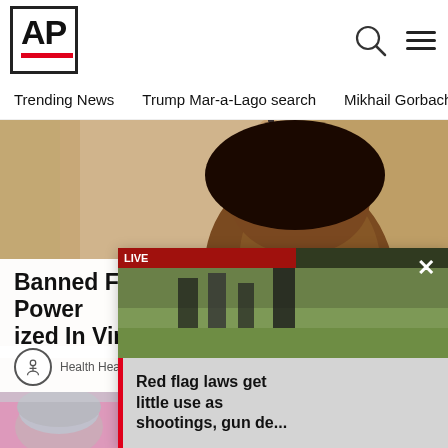[Figure (logo): AP News logo - bold AP text with red underbar]
Trending News   Trump Mar-a-Lago search   Mikhail Gorbachev d
[Figure (photo): Woman tilting head back receiving drops into open mouth from a small dropper/vial held in hand]
Banned For 84 Years; Power ized In Virginia
Health Headlines
[Figure (screenshot): Small video popup overlay showing outdoor scene with text: Red flag laws get little use as shootings, gun de...]
[Figure (photo): Bottom strip showing partial view of person with gray/white hair]